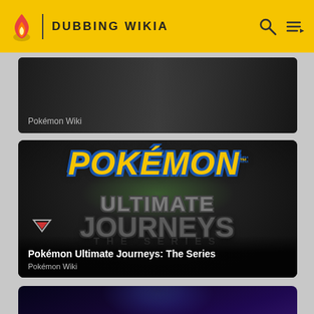DUBBING WIKIA
[Figure (screenshot): Partial card showing Pokemon Wiki label on dark background]
[Figure (screenshot): Pokémon Ultimate Journeys: The Series card with yellow Pokémon logo, Ultimate Journeys text, and globe graphic on dark background]
Pokémon Ultimate Journeys: The Series
Pokémon Wiki
[Figure (screenshot): Partial card showing a dark blue scene with a glowing-eyed creature, likely Mewtwo or similar Pokémon]